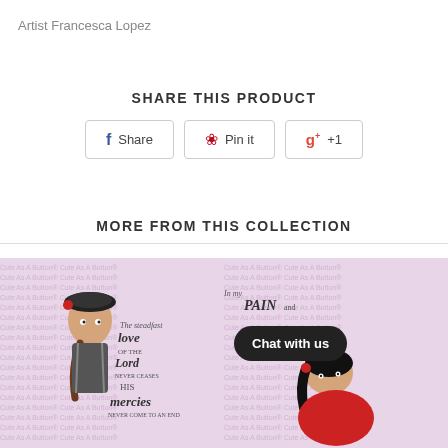Artist Francesca Lopez
SHARE THIS PRODUCT
Share | Pin it | +1
MORE FROM THIS COLLECTION
[Figure (illustration): Two illustrated artworks of stylized girls with decorative text backgrounds. Left image shows a girl with a beret and braid with 'The steadfast love of the Lord never ceases His mercies never come to an end' text. Right image shows a girl in red with 'In my PAIN and...' text. A 'Chat with us' black bubble overlay appears on the right image.]